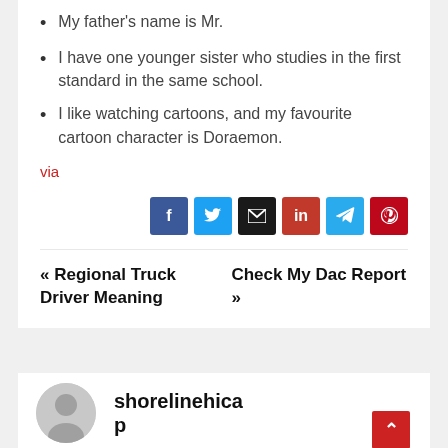My father's name is Mr.
I have one younger sister who studies in the first standard in the same school.
I like watching cartoons, and my favourite cartoon character is Doraemon.
via
[Figure (infographic): Social share buttons: Facebook, Twitter, Email, LinkedIn, Telegram, Pinterest]
« Regional Truck Driver Meaning    Check My Dac Report »
[Figure (photo): Default user avatar (grey circle with silhouette) and author name shorelinehicap]